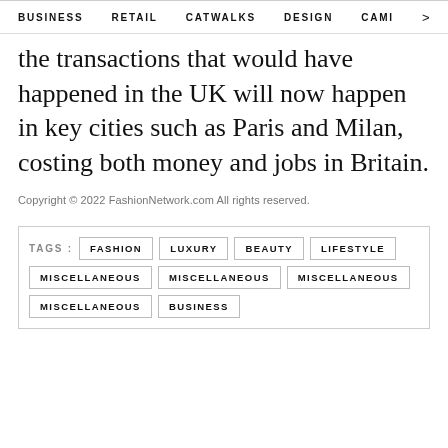BUSINESS   RETAIL   CATWALKS   DESIGN   CAMI >
the transactions that would have happened in the UK will now happen in key cities such as Paris and Milan, costing both money and jobs in Britain.
Copyright © 2022 FashionNetwork.com All rights reserved.
TAGS: FASHION LUXURY BEAUTY LIFESTYLE MISCELLANEOUS MISCELLANEOUS MISCELLANEOUS MISCELLANEOUS BUSINESS